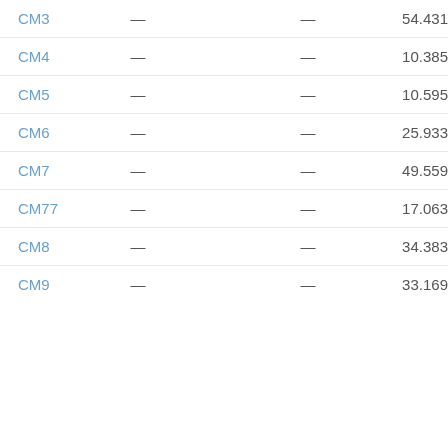|  |  |  |  |
| --- | --- | --- | --- |
| CM3 | — | — | 54.431 |
| CM4 | — | — | 10.385 |
| CM5 | — | — | 10.595 |
| CM6 | — | — | 25.933 |
| CM7 | — | — | 49.559 |
| CM77 | — | — | 17.063 |
| CM8 | — | — | 34.383 |
| CM9 | — | — | 33.169 |